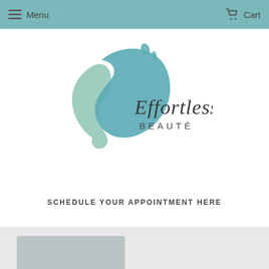Menu  Cart
[Figure (logo): Effortless Beauté logo with teal and green wave/splash design and script+sans-serif text]
SCHEDULE YOUR APPOINTMENT HERE